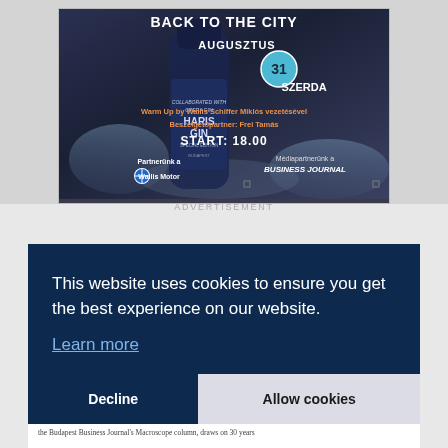[Figure (photo): Advertisement image for an event called 'Back to the City' on August 31 (Wednesday), featuring Haris Gin bottle on ice. Text mentions Warm Up by Wallis Schiffer Miklós vezetésével, Beszélgetőpartner: Frei Tamás, START: 18:00, Partnerünk a Wallis Motor (BMW), Médiapartnerünk a Business Journal.]
ADVERTISEMENT
This website uses cookies to ensure you get the best experience on our website.
Learn more
Decline
Allow cookies
the Budapest Business Journal's Macroscope column, draws on 30 years